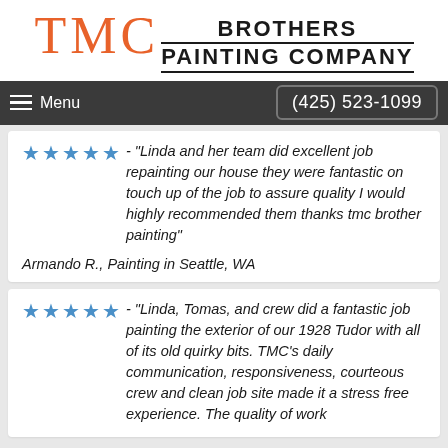[Figure (logo): TMC Brothers Painting Company logo with orange TMC letters and black bold BROTHERS / PAINTING COMPANY text]
Menu   (425) 523-1099
★★★★★ - "Linda and her team did excellent job repainting our house they were fantastic on touch up of the job to assure quality I would highly recommended them thanks tmc brother painting"
Armando R., Painting in Seattle, WA
★★★★★ - "Linda, Tomas, and crew did a fantastic job painting the exterior of our 1928 Tudor with all of its old quirky bits. TMC's daily communication, responsiveness, courteous crew and clean job site made it a stress free experience. The quality of work